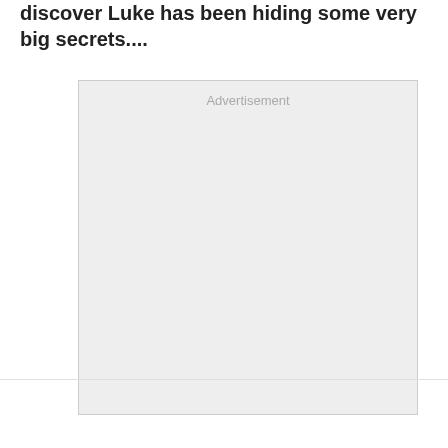discover Luke has been hiding some very big secrets....
[Figure (other): Advertisement placeholder box with light gray background and 'Advertisement' label at top center]